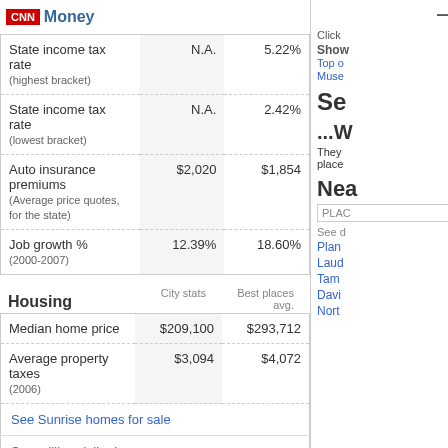CNN Money
|  | City stats | Best places avg. |
| --- | --- | --- |
| State income tax rate (highest bracket) | N.A. | 5.22% |
| State income tax rate (lowest bracket) | N.A. | 2.42% |
| Auto insurance premiums (Average price quotes, for the state) | $2,020 | $1,854 |
| Job growth % (2000-2007) | 12.39% | 18.60% |
Housing
|  | City stats | Best places avg. |
| --- | --- | --- |
| Median home price | $209,100 | $293,712 |
| Average property taxes (2006) | $3,094 | $4,072 |
| See Sunrise homes for sale |  |  |
| See million-dollar homes |  |  |
Education
|  | City stats | Best places avg. |
| --- | --- | --- |
| Colleges, universities and professional schools (within 30 miles) | 29 | 40 |
| Junior colleges and |  |  |
Click
Show
Top o
Muse
Se
...W
They
place
Nea
PLAC
See d
Plan
Laud
Tam
Davi
Nort